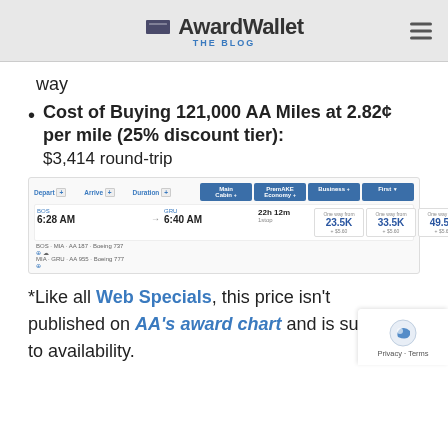AwardWallet THE BLOG
way
Cost of Buying 121,000 AA Miles at 2.82¢ per mile (25% discount tier): $3,414 round-trip
[Figure (screenshot): American Airlines flight search results showing BOS to GRU departing 6:28 AM arriving 6:40 AM, 22h 12m duration, 1 stop. Cabin class options: Main Cabin 23.5K + $5.60, PremAKE Economy 33.5K + $5.60, Business 49.5K + $5.60, First 60.5K + $5.60]
*Like all Web Specials, this price isn't published on AA's award chart and is su to availability.